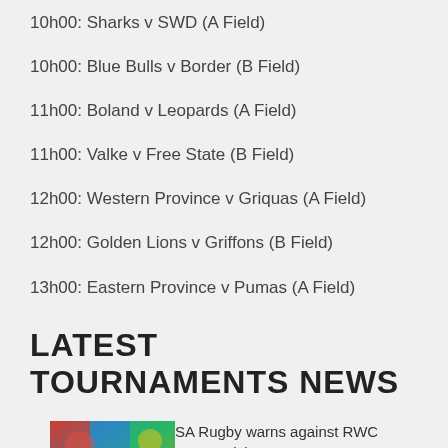10h00: Sharks v SWD (A Field)
10h00: Blue Bulls v Border (B Field)
11h00: Boland v Leopards (A Field)
11h00: Valke v Free State (B Field)
12h00: Western Province v Griquas (A Field)
12h00: Golden Lions v Griffons (B Field)
13h00: Eastern Province v Pumas (A Field)
LATEST TOURNAMENTS NEWS
[Figure (photo): Colorful rugby sevens crowd or player photo]
SA Rugby warns against RWC Sevens ticket scams...
SA Rugby has issued an urgent warning to